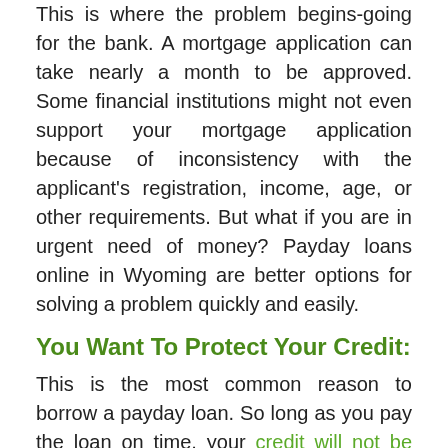This is where the problem begins-going for the bank. A mortgage application can take nearly a month to be approved. Some financial institutions might not even support your mortgage application because of inconsistency with the applicant's registration, income, age, or other requirements. But what if you are in urgent need of money? Payday loans online in Wyoming are better options for solving a problem quickly and easily.
You Want To Protect Your Credit:
This is the most common reason to borrow a payday loan. So long as you pay the loan on time, your credit will not be affected.
A Credit Card Can't Cover All Your